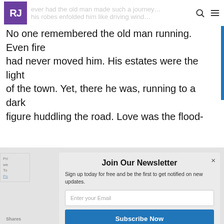RJ | Never had the old man made such a journey… his robes enfolded him like driving wind…
No one remembered the old man running.
Even fire
had never moved him. His estates were the light
of the town. Yet, there he was, running to a dark
figure huddling the road. Love was the flood-
Join Our Newsletter
Sign up today for free and be the first to get notified on new updates.
Enter your Email
Subscribe Now
Pri… we… To… Po…
Shares